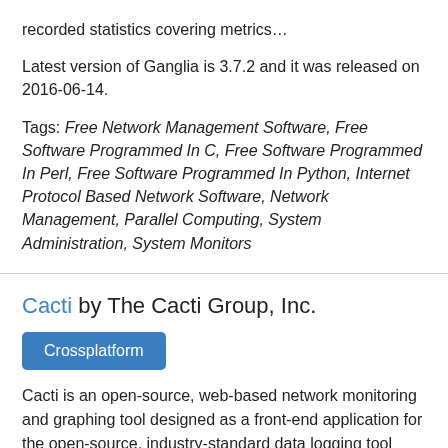recorded statistics covering metrics…
Latest version of Ganglia is 3.7.2 and it was released on 2016-06-14.
Tags: Free Network Management Software, Free Software Programmed In C, Free Software Programmed In Perl, Free Software Programmed In Python, Internet Protocol Based Network Software, Network Management, Parallel Computing, System Administration, System Monitors
Cacti by The Cacti Group, Inc.
Crossplatform
Cacti is an open-source, web-based network monitoring and graphing tool designed as a front-end application for the open-source, industry-standard data logging tool RRDtool. Cacti allows a user to…